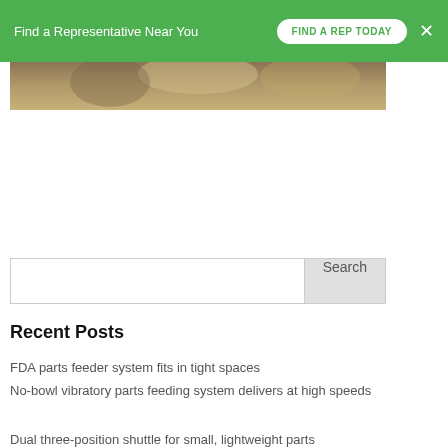Find a Representative Near You  FIND A REP TODAY  ×
[Figure (photo): Partial view of a photo strip showing industrial/mechanical parts in warm brown/gold tones]
Search
Recent Posts
FDA parts feeder system fits in tight spaces
No-bowl vibratory parts feeding system delivers at high speeds
Dual three-position shuttle for small, lightweight parts